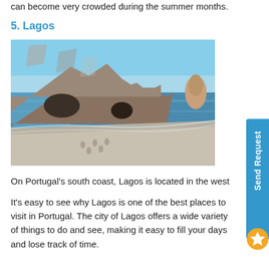can become very crowded during the summer months.
5. Lagos
[Figure (photo): Coastal beach scene at Lagos, Portugal showing rocky cliffs, sandy beach with footprints, and calm turquoise sea water under blue sky]
On Portugal's south coast, Lagos is located in the west
It's easy to see why Lagos is one of the best places to visit in Portugal. The city of Lagos offers a wide variety of things to do and see, making it easy to fill your days and lose track of time.